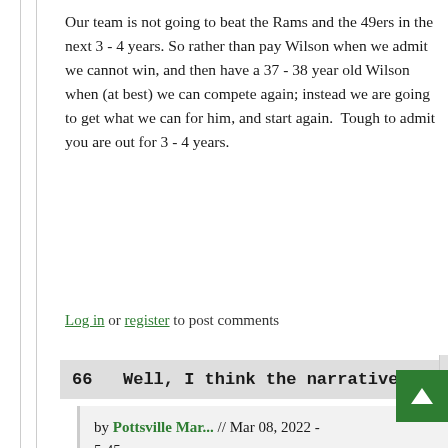Our team is not going to beat the Rams and the 49ers in the next 3 - 4 years. So rather than pay Wilson when we admit we cannot win, and then have a 37 - 38 year old Wilson when (at best) we can compete again; instead we are going to get what we can for him, and start again.  Tough to admit you are out for 3 - 4 years.
Log in or register to post comments
66  Well, I think the narrative...
by Pottsville Mar... // Mar 08, 2022 - 5:45pm
Well, I think the narrative Seattle